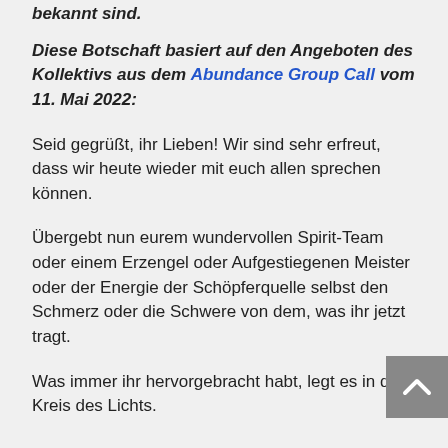bekannt sind.
Diese Botschaft basiert auf den Angeboten des Kollektivs aus dem Abundance Group Call vom 11. Mai 2022:
Seid gegrüßt, ihr Lieben! Wir sind sehr erfreut, dass wir heute wieder mit euch allen sprechen können.
Übergebt nun eurem wundervollen Spirit-Team oder einem Erzengel oder Aufgestiegenen Meister oder der Energie der Schöpferquelle selbst den Schmerz oder die Schwere von dem, was ihr jetzt tragt.
Was immer ihr hervorgebracht habt, legt es in den Kreis des Lichts.